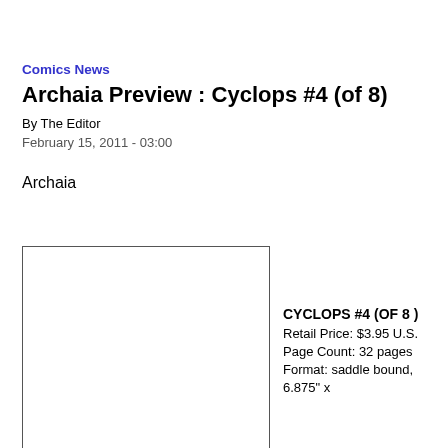Comics News
Archaia Preview : Cyclops #4 (of 8)
By The Editor
February 15, 2011 - 03:00
Archaia
[Figure (other): Comic book cover image placeholder (white box with border)]
CYCLOPS #4 (OF 8)
Retail Price: $3.95 U.S.
Page Count: 32 pages
Format: saddle bound, 6.875" x